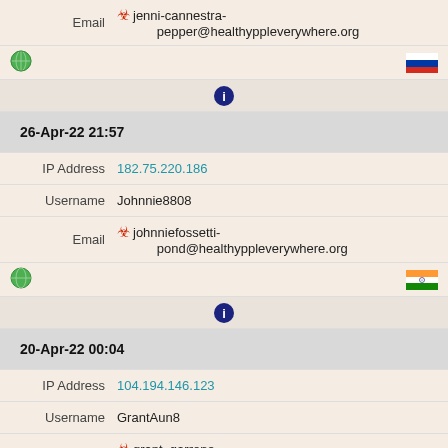| Email | ⚠ jenni-cannestra-pepper@healthyppleverywhere.org |
| (globe icon) | (Russia flag) |
| (info icon) |  |
| 26-Apr-22 21:57 |  |
| IP Address | 182.75.220.186 |
| Username | Johnnie8808 |
| Email | ⚠ johnniefossetti-pond@healthyppleverywhere.org |
| (globe icon) | (India flag) |
| (info icon) |  |
| 20-Apr-22 00:04 |  |
| IP Address | 104.194.146.123 |
| Username | GrantAun8 |
| Email | ⚠ grant_garrone-steadham@healthyppleverywhere.org |
| (globe icon) | (USA flag) |